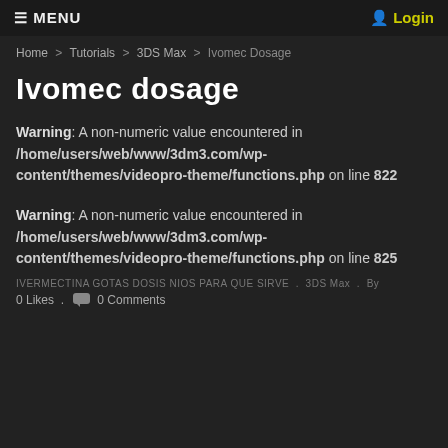≡ MENU   Login
Home > Tutorials > 3DS Max > Ivomec Dosage
Ivomec dosage
Warning: A non-numeric value encountered in /home/users/web/www/3dm3.com/wp-content/themes/videopro-theme/functions.php on line 822
Warning: A non-numeric value encountered in /home/users/web/www/3dm3.com/wp-content/themes/videopro-theme/functions.php on line 825
IVERMECTINA GOTAS DOSIS NIOS PARA QUE SIRVE . 3DS Max . By
0 Likes . 0 Comments